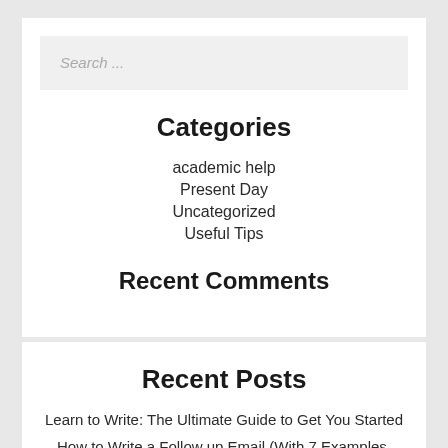Search ...
Categories
academic help
Present Day
Uncategorized
Useful Tips
Recent Comments
Recent Posts
Learn to Write: The Ultimate Guide to Get You Started
How to Write a Follow up Email (With 7 Examples, Backed by